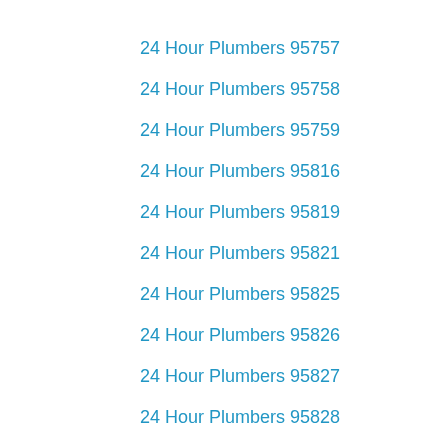24 Hour Plumbers 95757
24 Hour Plumbers 95758
24 Hour Plumbers 95759
24 Hour Plumbers 95816
24 Hour Plumbers 95819
24 Hour Plumbers 95821
24 Hour Plumbers 95825
24 Hour Plumbers 95826
24 Hour Plumbers 95827
24 Hour Plumbers 95828